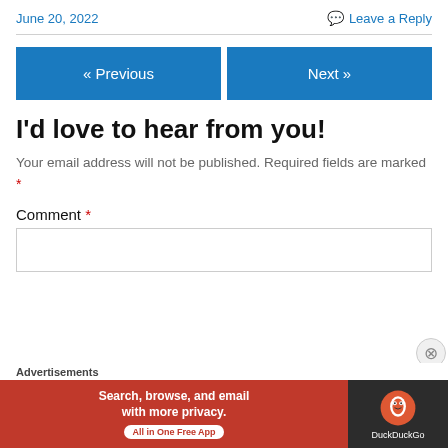June 20, 2022
Leave a Reply
« Previous
Next »
I'd love to hear from you!
Your email address will not be published. Required fields are marked *
Comment *
[Figure (screenshot): DuckDuckGo advertisement banner: orange/red background with text 'Search, browse, and email with more privacy. All in One Free App' and DuckDuckGo logo on dark background]
Advertisements